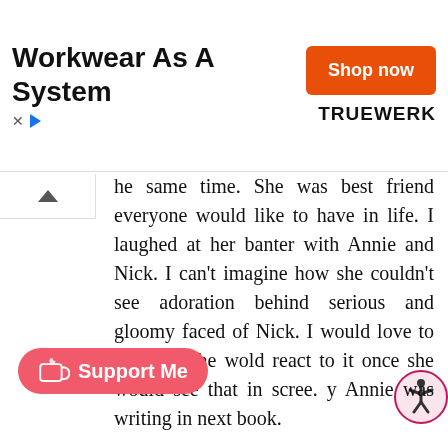[Figure (other): Advertisement banner: 'Workwear As A System' with orange 'Shop now' button and TRUEWERK logo]
he same time. She was best friend everyone would like to have in life. I laughed at her banter with Annie and Nick. I can't imagine how she couldn't see adoration behind serious and gloomy faced of Nick. I would love to see how she would react to it once she would see that in screen. By Annie was writing in next book.
Drew was charming. He was fun, joyful character. He got his name 'Hollywood prankster' for a reason but behind his noncaring, fun nature there was [deeper] character. He was caring, loving p[erson] and adored his family. I was t[old he had]...